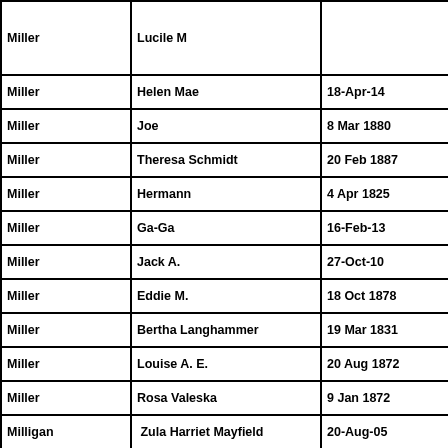| Last Name | First Name | Birth Date | Death Date |
| --- | --- | --- | --- |
| Miller | Lucile M |  |  |
| Miller | Helen Mae | 18-Apr-14 | 28-A |
| Miller | Joe | 8 Mar 1880 | 13-A |
| Miller | Theresa Schmidt | 20 Feb 1887 | 19-A |
| Miller | Hermann | 4 Apr 1825 | 7 Fe |
| Miller | Ga-Ga | 16-Feb-13 | 1-M |
| Miller | Jack A. | 27-Oct-10 | 13-J |
| Miller | Eddie M. | 18 Oct 1878 | 29 J |
| Miller | Bertha Langhammer | 19 Mar 1831 | 4-Se |
| Miller | Louise A. E. | 20 Aug 1872 | 3 Oc |
| Miller | Rosa Valeska | 9 Jan 1872 | 14-S |
| Milligan | Zula Harriet Mayfield | 20-Aug-05 | 24-J |
| Milligan | Claud G. | 1902 | 198 |
| Minton | Jack Bell | 26 Nov 1872 | 22-N |
| Minton | Robert | 27 Apr 1833 | 25-N |
| Minton | Sarah Adeline Bell | 25 Feb 1843 | 3-Se |
| Mintz | Sam | 22-Jul-10 | 13-J |